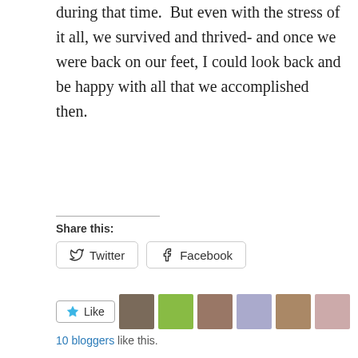during that time.  But even with the stress of it all, we survived and thrived- and once we were back on our feet, I could look back and be happy with all that we accomplished then.
Share this:
[Figure (other): Twitter and Facebook share buttons]
[Figure (other): Like button with star icon and 8 blogger avatar thumbnails]
10 bloggers like this.
Brenda K.   Minimalism, Simplify   4 Comments   December 30, 2017   2 Minutes